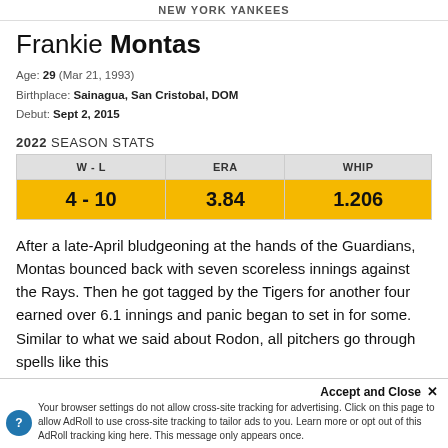NEW YORK YANKEES
Frankie Montas
Age: 29 (Mar 21, 1993)
Birthplace: Sainagua, San Cristobal, DOM
Debut: Sept 2, 2015
2022 SEASON STATS
| W - L | ERA | WHIP |
| --- | --- | --- |
| 4 - 10 | 3.84 | 1.206 |
After a late-April bludgeoning at the hands of the Guardians, Montas bounced back with seven scoreless innings against the Rays. Then he got tagged by the Tigers for another four earned over 6.1 innings and panic began to set in for some. Similar to what we said about Rodon, all pitchers go through spells like this and there is no use in panicking. The difference
Accept and Close ×
Your browser settings do not allow cross-site tracking for advertising. Click on this page to allow AdRoll to use cross-site tracking to tailor ads to you. Learn more or opt out of this AdRoll tracking by clicking here. This message only appears once.